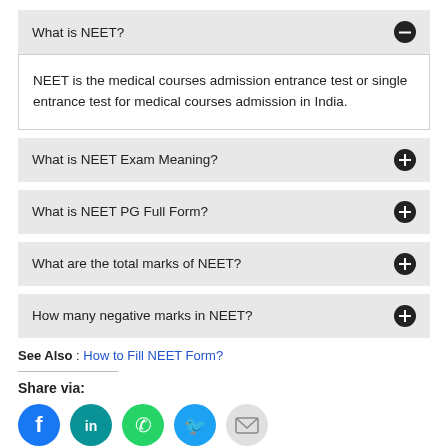What is NEET?
NEET is the medical courses admission entrance test or single entrance test for medical courses admission in India.
What is NEET Exam Meaning?
What is NEET PG Full Form?
What are the total marks of NEET?
How many negative marks in NEET?
See Also : How to Fill NEET Form?
Share via:
[Figure (illustration): Social share icons: Facebook (blue), LinkedIn (teal), WhatsApp (green), Twitter (light blue), Email (gray)]